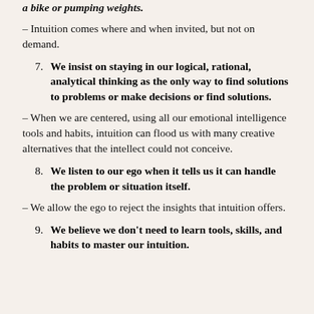a bike or pumping weights.
– Intuition comes where and when invited, but not on demand.
7. We insist on staying in our logical, rational, analytical thinking as the only way to find solutions to problems or make decisions or find solutions.
– When we are centered, using all our emotional intelligence tools and habits, intuition can flood us with many creative alternatives that the intellect could not conceive.
8. We listen to our ego when it tells us it can handle the problem or situation itself.
– We allow the ego to reject the insights that intuition offers.
9. We believe we don't need to learn tools, skills, and habits to master our intuition.